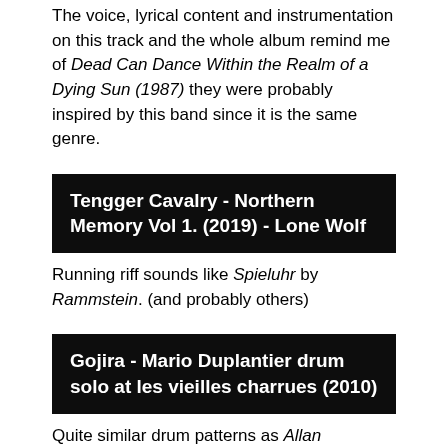The voice, lyrical content and instrumentation on this track and the whole album remind me of Dead Can Dance Within the Realm of a Dying Sun (1987) they were probably inspired by this band since it is the same genre.
Tengger Cavalry - Northern Memory Vol 1. (2019) - Lone Wolf
Running riff sounds like Spieluhr by Rammstein. (and probably others)
Gojira - Mario Duplantier drum solo at les vieilles charrues (2010)
Quite similar drum patterns as Allan Holdsworth The sixteen men of tain (2000) the drums were yellow probably unintended and probably wrong.
Miles Davis - Get Up With It (1974) - Calypso Frelimo